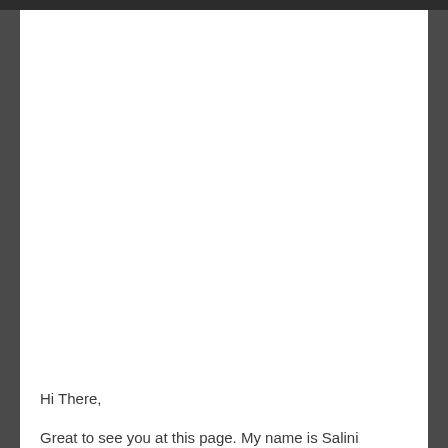Hi There,
Great to see you at this page. My name is Salini